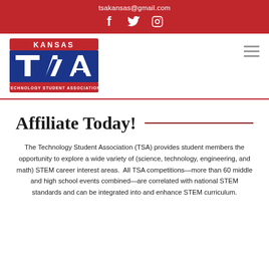tsakansas@gmail.com
[Figure (logo): Kansas TSA (Technology Student Association) logo with red top bar showing KANSAS, blue shield with TSA letters, and red bottom bar with TECHNOLOGY STUDENT ASSOCIATION]
Affiliate Today!
The Technology Student Association (TSA) provides student members the opportunity to explore a wide variety of (science, technology, engineering, and math) STEM career interest areas.  All TSA competitions—more than 60 middle and high school events combined—are correlated with national STEM standards and can be integrated into and enhance STEM curriculum.